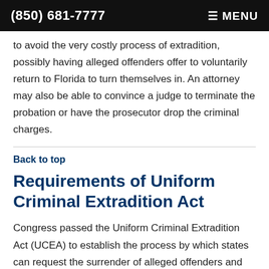(850) 681-7777  ☰ MENU
to avoid the very costly process of extradition, possibly having alleged offenders offer to voluntarily return to Florida to turn themselves in. An attorney may also be able to convince a judge to terminate the probation or have the prosecutor drop the criminal charges.
Back to top
Requirements of Uniform Criminal Extradition Act
Congress passed the Uniform Criminal Extradition Act (UCEA) to establish the process by which states can request the surrender of alleged offenders and the manner in which